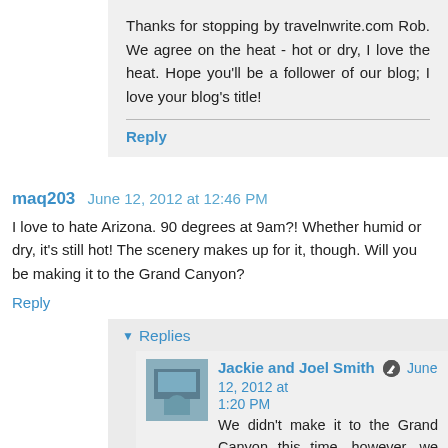Thanks for stopping by travelnwrite.com Rob. We agree on the heat - hot or dry, I love the heat. Hope you'll be a follower of our blog; I love your blog's title!
Reply
maq203  June 12, 2012 at 12:46 PM
I love to hate Arizona. 90 degrees at 9am?! Whether humid or dry, it's still hot! The scenery makes up for it, though. Will you be making it to the Grand Canyon?
Reply
Replies
Jackie and Joel Smith  June 12, 2012 at 1:20 PM
We didn't make it to the Grand Canyon this time, however, we did the train through the Verde Canyon, outside Cottonwood. I'll be posting...